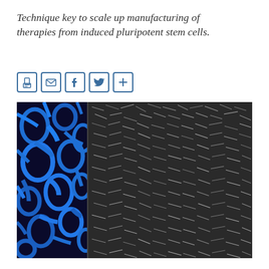Technique key to scale up manufacturing of therapies from induced pluripotent stem cells.
[Figure (other): Five social sharing icon buttons in a row: print, email, Facebook, Twitter, and a plus/more button. Each is a square with a border in blue-grey color.]
[Figure (photo): Microscopy image showing a side-by-side comparison: on the left, a blue-colored scanning electron microscope image of a porous polymer scaffold with interconnected network of fibers and open pores; on the right, a grey scanning electron microscope image of a dense fibrous material or cells coating the scaffold, with tangled nanoscale fibers visible.]